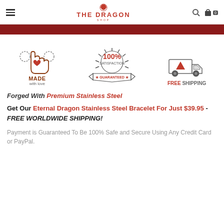The Dragon Shop - navigation header with hamburger menu, logo, search and cart icons
[Figure (infographic): Red decorative banner bar]
[Figure (infographic): Three trust badge icons: Made with love (hand with heart), 100% Satisfaction Guaranteed, Free Shipping (truck)]
Forged With Premium Stainless Steel
Get Our Eternal Dragon Stainless Steel Bracelet For Just $39.95 - FREE WORLDWIDE SHIPPING!
Payment is Guaranteed To Be 100% Safe and Secure Using Any Credit Card or PayPal.